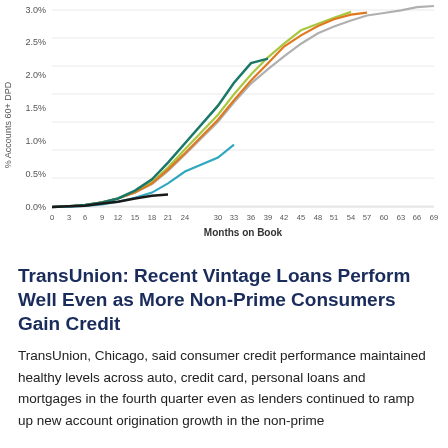[Figure (line-chart): ]
TransUnion: Recent Vintage Loans Perform Well Even as More Non-Prime Consumers Gain Credit
TransUnion, Chicago, said consumer credit performance maintained healthy levels across auto, credit card, personal loans and mortgages in the fourth quarter even as lenders continued to ramp up new account origination growth in the non-prime